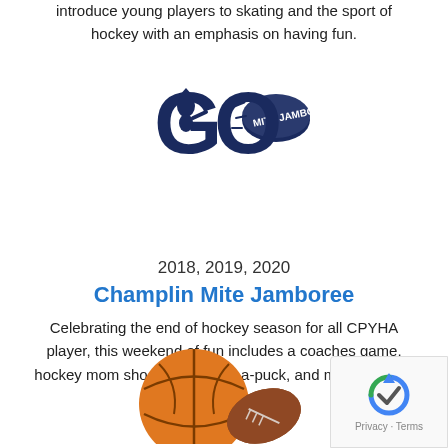introduce young players to skating and the sport of hockey with an emphasis on having fun.
[Figure (logo): CPYHA / Champlin Park youth hockey association logo featuring a patriot mascot and hockey puck with 'GO' text]
2018, 2019, 2020
Champlin Mite Jamboree
Celebrating the end of hockey season for all CPYHA player, this weekend of fun includes a coaches game, hockey mom shootouts, chuck-a-puck, and much MORE!
[Figure (illustration): Sports balls illustration including basketball and football]
[Figure (other): reCAPTCHA privacy badge with Privacy and Terms links]